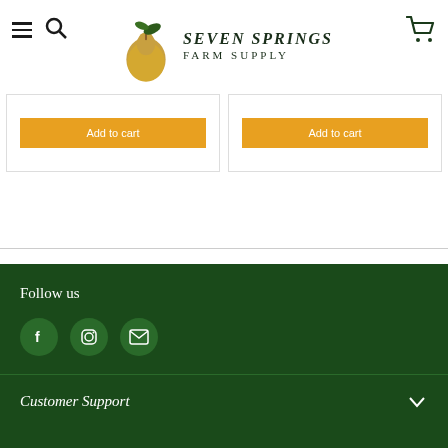[Figure (logo): Seven Springs Farm Supply logo with pear illustration]
Add to cart
Add to cart
Follow us
[Figure (illustration): Social media icons: Facebook, Instagram, Email]
Customer Support